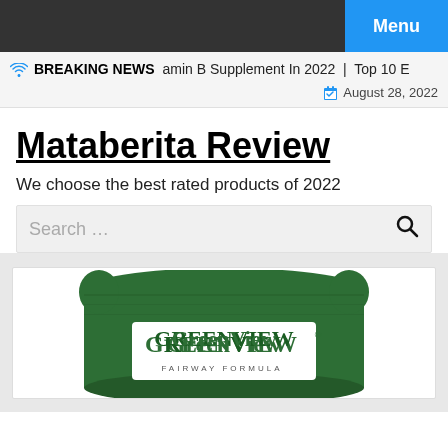Menu
BREAKING NEWS  amin B Supplement In 2022  |  Top 10 E
August 28, 2022
Mataberita Review
We choose the best rated products of 2022
Search …
[Figure (photo): GreenView Fairway Formula bag of grass seed, dark green packaging with white label showing GreenView brand name and Fairway Formula tagline]